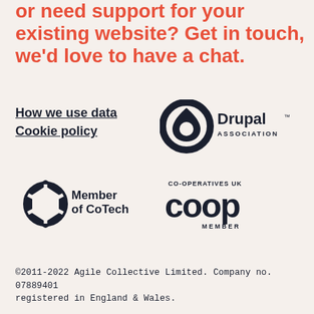or need support for your existing website? Get in touch, we'd love to have a chat.
How we use data
Cookie policy
[Figure (logo): Drupal Association logo with droplet icon]
[Figure (logo): Member of CoTech logo with geometric circular icon]
[Figure (logo): Co-operatives UK COOP Member logo]
©2011-2022 Agile Collective Limited. Company no. 07889401 registered in England & Wales.